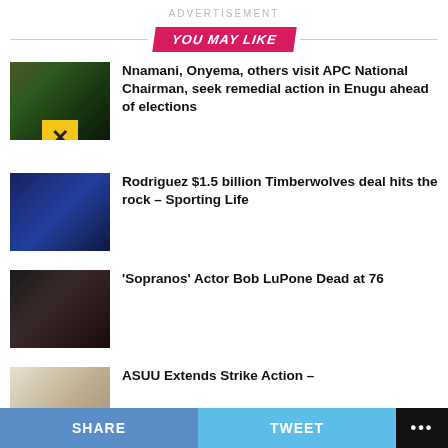ADVERTISEMENT
YOU MAY LIKE
Nnamani, Onyema, others visit APC National Chairman, seek remedial action in Enugu ahead of elections
Rodriguez $1.5 billion Timberwolves deal hits the rock – Sporting Life
'Sopranos' Actor Bob LuPone Dead at 76
ASUU Extends Strike Action –
SHARE   TWEET   ...